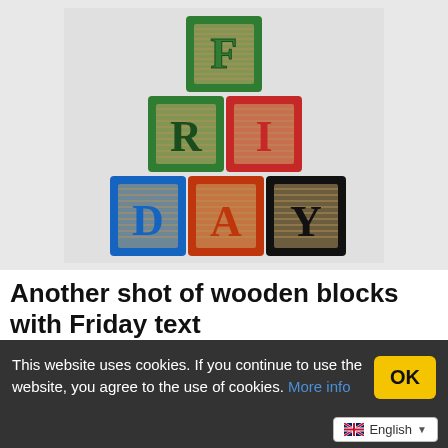[Figure (photo): Wooden alphabet blocks stacked to spell FRIDAY. Top block shows F (green), middle row shows R (green) and I (red), bottom row shows D (blue), A (red/tan), and Y (black).]
Another shot of wooden blocks with Friday text
Another shot of wooden blocks with Friday text The image Another shot of wooden blocks with Friday text
This website uses cookies. If you continue to use the website, you agree to the use of cookies. More info